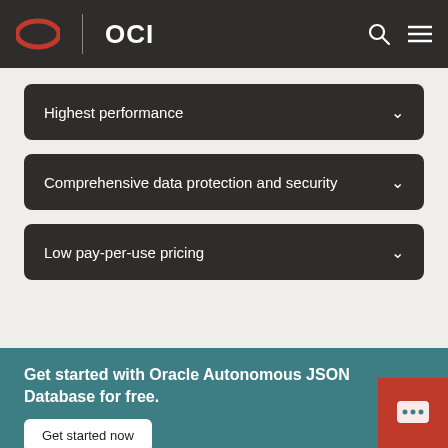OCI
Highest performance
Comprehensive data protection and security
Low pay-per-use pricing
Get started with Oracle Autonomous JSON Database for free.
Get started now